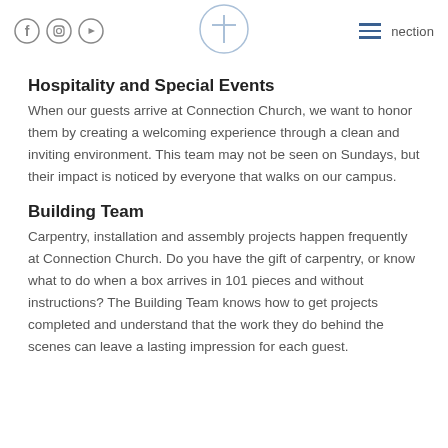nection
Hospitality and Special Events
When our guests arrive at Connection Church, we want to honor them by creating a welcoming experience through a clean and inviting environment. This team may not be seen on Sundays, but their impact is noticed by everyone that walks on our campus.
Building Team
Carpentry, installation and assembly projects happen frequently at Connection Church. Do you have the gift of carpentry, or know what to do when a box arrives in 101 pieces and without instructions? The Building Team knows how to get projects completed and understand that the work they do behind the scenes can leave a lasting impression for each guest.